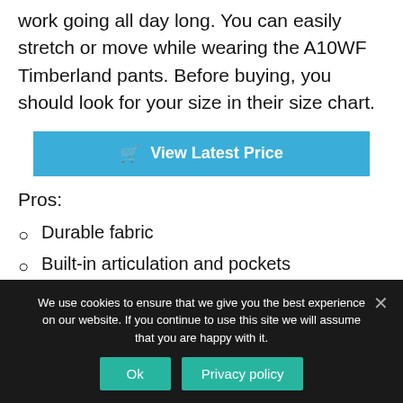work going all day long. You can easily stretch or move while wearing the A10WF Timberland pants. Before buying, you should look for your size in their size chart.
[Figure (other): Blue 'View Latest Price' button with shopping cart icon]
Pros:
Durable fabric
Built-in articulation and pockets
Easy to move and stretch
We use cookies to ensure that we give you the best experience on our website. If you continue to use this site we will assume that you are happy with it.